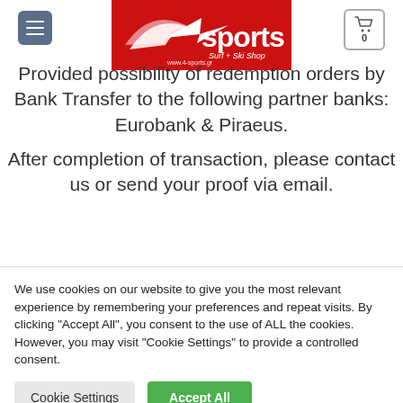[Figure (logo): 4sports Surf + Ski Shop logo on red background]
Provided possibility of redemption orders by Bank Transfer to the following partner banks: Eurobank & Piraeus.
After completion of transaction, please contact us or send your proof via email.
We use cookies on our website to give you the most relevant experience by remembering your preferences and repeat visits. By clicking "Accept All", you consent to the use of ALL the cookies. However, you may visit "Cookie Settings" to provide a controlled consent.